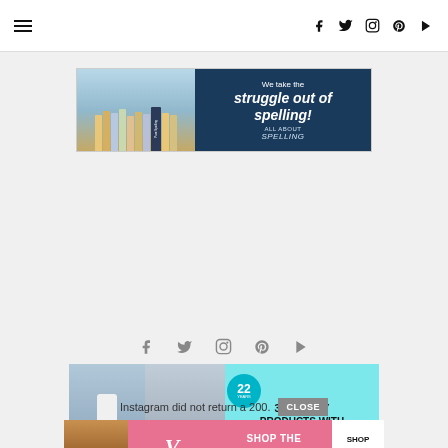Navigation bar with hamburger menu and social icons (Facebook, Twitter, Instagram, Pinterest, YouTube)
[Figure (photo): Advertisement banner for All About Spelling showing colorful spelling books on the left and text 'We take the struggle out of spelling!' on dark blue background with All About Spelling logo]
[Figure (photo): Advertisement for beauty products: '37 BEAUTY PRODUCTS WITH SUCH GOOD REVIEWS YOU MIGHT WANT TO TRY THEM YOURSELF' with badge showing '22' on cyan background, showing glo beauty product and woman]
Social icons row: Facebook, Twitter, Instagram, Pinterest, YouTube
Instagram did not return a 200.
CLOSE
[Figure (photo): Victoria's Secret advertisement banner: model on left, VS logo, 'SHOP THE COLLECTION' text on pink background, 'SHOP NOW' button on white]